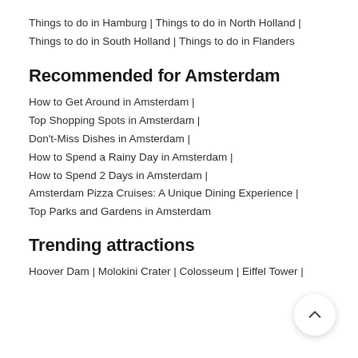Things to do in Hamburg | Things to do in North Holland | Things to do in South Holland | Things to do in Flanders
Recommended for Amsterdam
How to Get Around in Amsterdam |
Top Shopping Spots in Amsterdam |
Don't-Miss Dishes in Amsterdam |
How to Spend a Rainy Day in Amsterdam |
How to Spend 2 Days in Amsterdam |
Amsterdam Pizza Cruises: A Unique Dining Experience |
Top Parks and Gardens in Amsterdam
Trending attractions
Hoover Dam | Molokini Crater | Colosseum | Eiffel Tower |